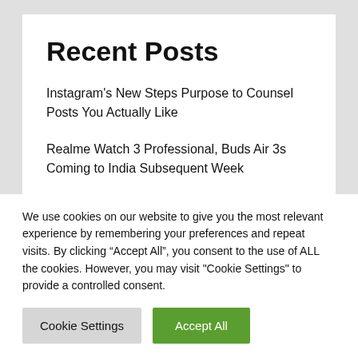Recent Posts
Instagram's New Steps Purpose to Counsel Posts You Actually Like
Realme Watch 3 Professional, Buds Air 3s Coming to India Subsequent Week
Truecaller for iOS Up to date with Higher Spam Detection and Extra
We use cookies on our website to give you the most relevant experience by remembering your preferences and repeat visits. By clicking “Accept All”, you consent to the use of ALL the cookies. However, you may visit "Cookie Settings" to provide a controlled consent.